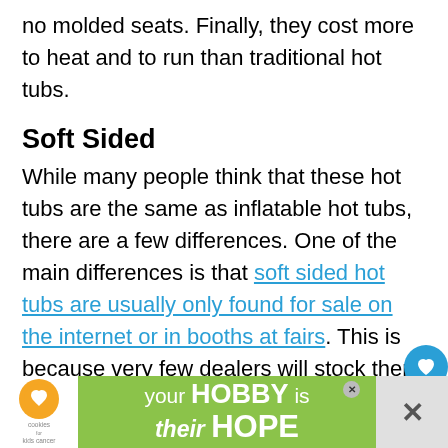no molded seats. Finally, they cost more to heat and to run than traditional hot tubs.
Soft Sided
While many people think that these hot tubs are the same as inflatable hot tubs, there are a few differences. One of the main differences is that soft sided hot tubs are usually only found for sale on the internet or in booths at fairs. This is because very few dealers will stock them in their showrooms. Just as inflatable hot tubs, these plug into a 110v outlet and don't need any major electrical work.
[Figure (infographic): Advertisement banner with green background reading 'your HOBBY is their HOPE' with cookies for kids cancer logo and close buttons]